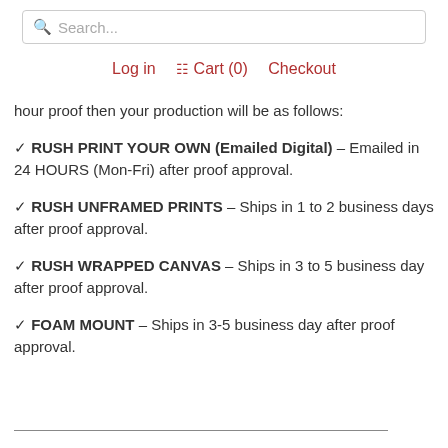Search...
Log in  Cart (0)  Checkout
hour proof then your production will be as follows:
✓ RUSH PRINT YOUR OWN (Emailed Digital) – Emailed in 24 HOURS (Mon-Fri) after proof approval.
✓ RUSH UNFRAMED PRINTS – Ships in 1 to 2 business days after proof approval.
✓ RUSH WRAPPED CANVAS – Ships in 3 to 5 business day after proof approval.
✓ FOAM MOUNT – Ships in 3-5 business day after proof approval.